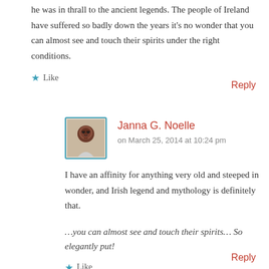he was in thrall to the ancient legends. The people of Ireland have suffered so badly down the years it's no wonder that you can almost see and touch their spirits under the right conditions.
★ Like
Reply
Janna G. Noelle
on March 25, 2014 at 10:24 pm
I have an affinity for anything very old and steeped in wonder, and Irish legend and mythology is definitely that.
…you can almost see and touch their spirits… So elegantly put!
★ Like
Reply